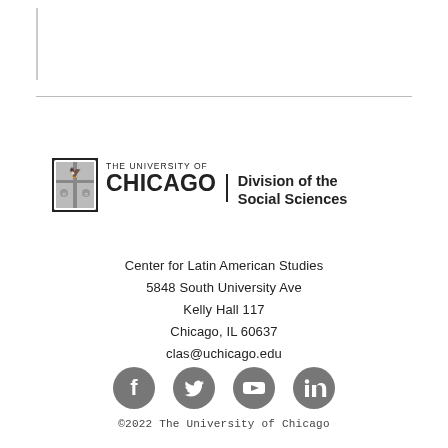[Figure (logo): University of Chicago shield logo with text 'THE UNIVERSITY OF CHICAGO | Division of the Social Sciences']
Center for Latin American Studies
5848 South University Ave
Kelly Hall 117
Chicago, IL 60637
clas@uchicago.edu
[Figure (illustration): Social media icons: Facebook, Twitter, YouTube, LinkedIn — all in grey circles]
©2022 The University of Chicago